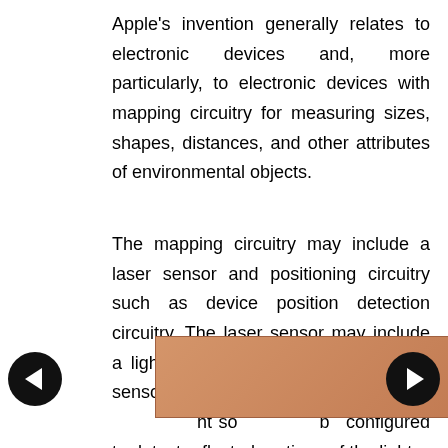Apple's invention generally relates to electronic devices and, more particularly, to electronic devices with mapping circuitry for measuring sizes, shapes, distances, and other attributes of environmental objects.
The mapping circuitry may include a laser sensor and positioning circuitry such as device position detection circuitry. The laser sensor may include a light-emitting component and a light sensor. The light-emitting component may emit light and the light sensor may be configured to detect reflected portions of the light
[Figure (other): Advertisement overlay with blue figures and text 'Hold and Move', partially covering the text content. Navigation arrows (left and right) are overlaid on the page.]